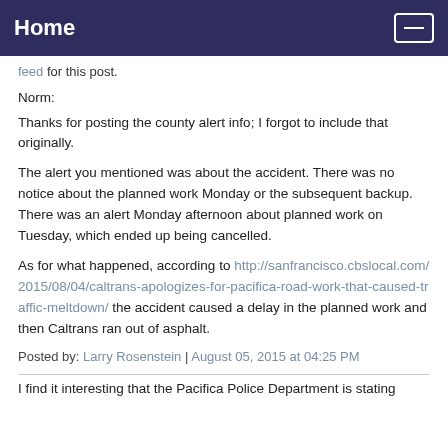Home
feed for this post.
Norm:
Thanks for posting the county alert info; I forgot to include that originally.
The alert you mentioned was about the accident. There was no notice about the planned work Monday or the subsequent backup. There was an alert Monday afternoon about planned work on Tuesday, which ended up being cancelled.
As for what happened, according to http://sanfrancisco.cbslocal.com/2015/08/04/caltrans-apologizes-for-pacifica-road-work-that-caused-traffic-meltdown/ the accident caused a delay in the planned work and then Caltrans ran out of asphalt.
Posted by: Larry Rosenstein | August 05, 2015 at 04:25 PM
I find it interesting that the Pacifica Police Department is stating